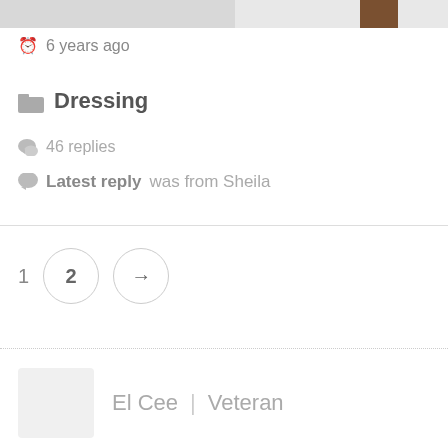[Figure (photo): Partial top image strip showing what appears to be shoes or clothing items, cropped at top of page]
🕐 6 years ago
📁 Dressing
💬 46 replies
💬 Latest reply was from Sheila
1  2  →
El Cee | Veteran